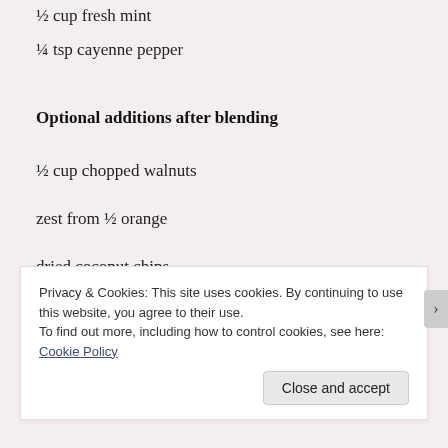½ cup fresh mint
¼ tsp cayenne pepper
Optional additions after blending
½ cup chopped walnuts
zest from ½ orange
dried coconut chips
Privacy & Cookies: This site uses cookies. By continuing to use this website, you agree to their use.
To find out more, including how to control cookies, see here: Cookie Policy